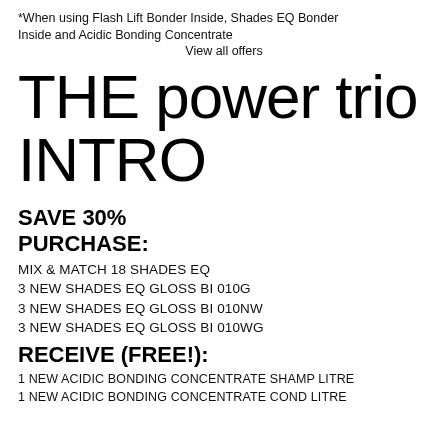*When using Flash Lift Bonder Inside, Shades EQ Bonder Inside and Acidic Bonding Concentrate
View all offers
THE power trio INTRO
SAVE 30% PURCHASE:
MIX & MATCH 18 SHADES EQ
3 NEW SHADES EQ GLOSS BI 010G
3 NEW SHADES EQ GLOSS BI 010NW
3 NEW SHADES EQ GLOSS BI 010WG
RECEIVE (FREE!):
1 NEW ACIDIC BONDING CONCENTRATE SHAMP LITRE
1 NEW ACIDIC BONDING CONCENTRATE COND LITRE